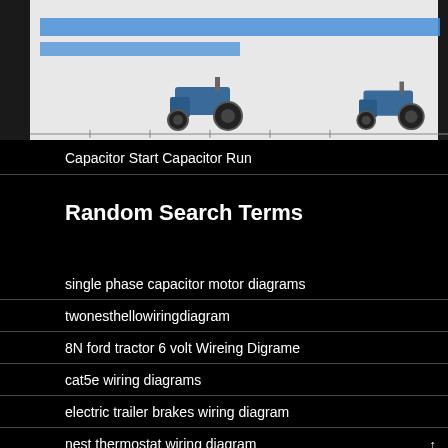[Figure (engineering-diagram): Partial view of a capacitor start capacitor run motor wiring diagram showing two motor diagrams side by side on a light background with blue highlighted text bars at the top]
Capacitor Start Capacitor Run
Random Search Terms
single phase capacitor motor diagrams
twonesthellowiringdiagram
8N ford tractor 6 volt Wireing Digrame
cat5e wiring diagrams
electric trailer brakes wiring diagram
nest thermostat wiring diagram
wireing diagram for 12volt 8nford taacter